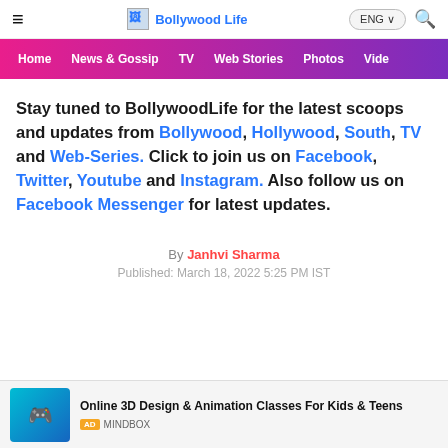Bollywood Life
Stay tuned to BollywoodLife for the latest scoops and updates from Bollywood, Hollywood, South, TV and Web-Series. Click to join us on Facebook, Twitter, Youtube and Instagram. Also follow us on Facebook Messenger for latest updates.
By Janhvi Sharma
Published: March 18, 2022 5:25 PM IST
Online 3D Design & Animation Classes For Kids & Teens AD MINDBOX